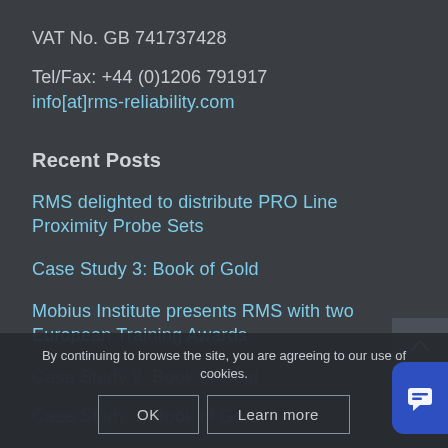VAT No. GB 741737428
Tel/Fax: +44 (0)1206 791917
info[at]rms-reliability.com
Recent Posts
RMS delighted to distribute PRO Line Proximity Probe Sets
Case Study 3: Book of Gold
Mobius Institute presents RMS with two European Training Awards
Case Study 2: Book of Gold
Case Study 1: Book of Gold
By continuing to browse the site, you are agreeing to our use of cookies.
OK
Learn more